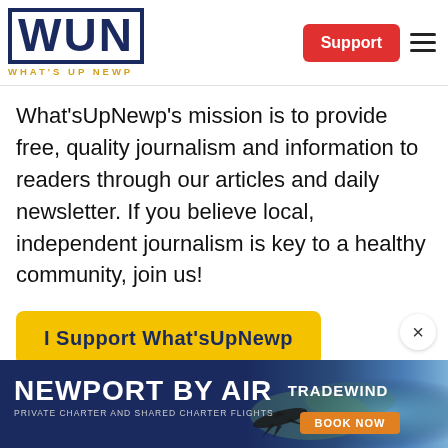[Figure (logo): WUN What's Up Newp logo — bold dark navy letters WUN with border, subtitle WHAT'S UP NEWP in gold]
Support
What'sUpNewp's mission is to provide free, quality journalism and information to readers through our articles and daily newsletter. If you believe local, independent journalism is key to a healthy community, join us!
I Support What'sUpNewp
[Figure (infographic): Advertisement banner: NEWPORT BY AIR — PRIVATE CHARTER AND SHARED CHARTER FLIGHTS — TRADEWIND — BOOK NOW, with aerial photo of Newport and plane silhouette]